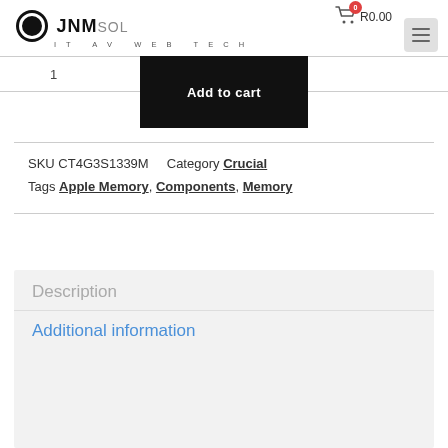JNM SOL IT AV WEB TECH — R0.00
1
Add to cart
SKU CT4G3S1339M  Category Crucial  Tags Apple Memory, Components, Memory
Description
Additional information